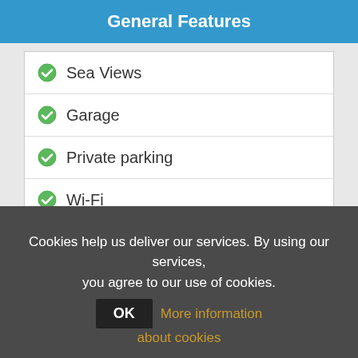General Features
Sea Views
Garage
Private parking
Wi-Fi
Television - terrestrial
Television - satellite
Air-conditioning
Cookies help us deliver our services. By using our services, you agree to our use of cookies. OK More information about cookies